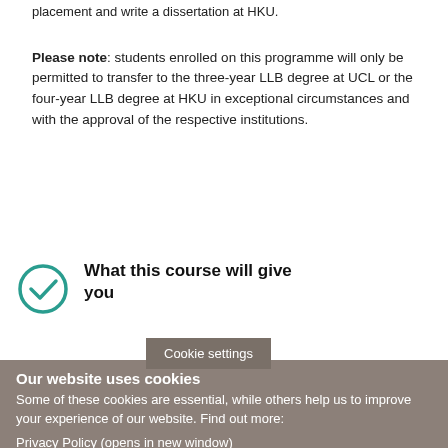placement and write a dissertation at HKU.
Please note: students enrolled on this programme will only be permitted to transfer to the three-year LLB degree at UCL or the four-year LLB degree at HKU in exceptional circumstances and with the approval of the respective institutions.
[Figure (illustration): Teal circular checkmark icon]
What this course will give you
This programme leads to the award of two LLB degrees
Cookie settings
Our website uses cookies
Some of these cookies are essential, while others help us to improve your experience of our website. Find out more:
Privacy Policy (opens in new window)
Accept all cookies
Manage cookies